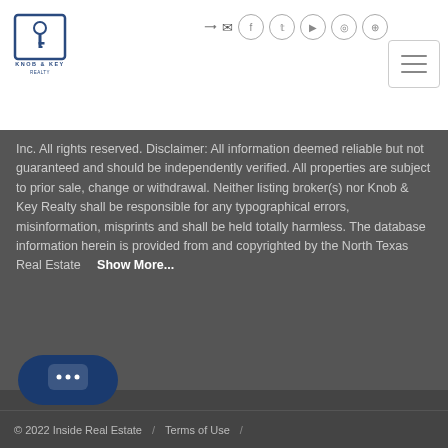[Figure (logo): Knob & Key Realty logo with icon of a key inside a square border and text KNOB & KEY below]
Inc. All rights reserved. Disclaimer: All information deemed reliable but not guaranteed and should be independently verified. All properties are subject to prior sale, change or withdrawal. Neither listing broker(s) nor Knob & Key Realty shall be responsible for any typographical errors, misinformation, misprints and shall be held totally harmless. The database information herein is provided from and copyrighted by the North Texas Real Estate   Show More...
© 2022 Inside Real Estate  /  Terms of Use  /